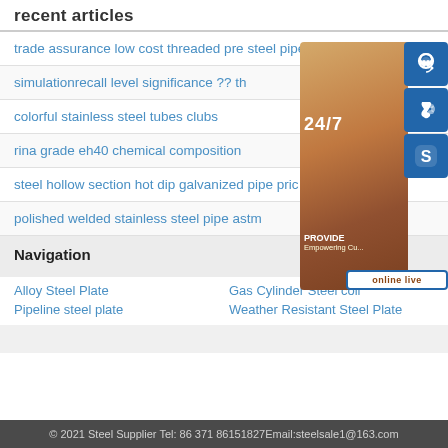recent articles
trade assurance low cost threaded pre steel pipe
simulationrecall level significance ?? th
colorful stainless steel tubes clubs
rina grade eh40 chemical composition
steel hollow section hot dip galvanized pipe pric
polished welded stainless steel pipe astm
[Figure (infographic): Customer service widget with 24/7 label, a woman wearing headset, three blue icon buttons (headset, phone, Skype), and 'online live' button at bottom, plus 'PROVIDE Empowering Cu...' text]
Navigation
Alloy Steel Plate
Gas Cylinder Steel coil
Pipeline steel plate
Weather Resistant Steel Plate
© 2021 Steel Supplier Tel: 86 371 86151827Email:steelsale1@163.com